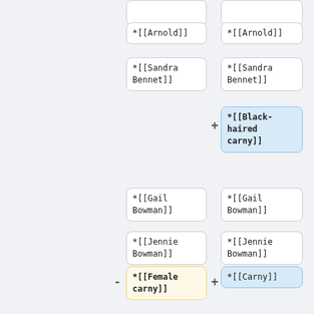[Figure (flowchart): A diff/comparison flowchart showing wiki-style list items in two columns. Left column and right column show matching entries. Some entries are highlighted in blue (additions) or yellow (removals). Entries include *[[Arnold]], *[[Sandra Bennet]], *[[Black-haired carny]] (blue, right only), *[[Gail Bowman]], *[[Jennie Bowman]], *[[Female carny]] (yellow, left), *[[Carny]] (blue, right), *[[Carny kid]] (blue, right), *[[Carny (partial)]] (blue, right, cut off).]